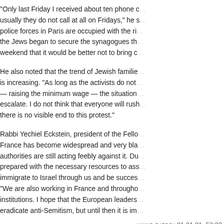"Only last Friday I received about ten phone calls — usually they do not call at all on Fridays," he said... police forces in Paris are occupied with the riots... the Jews began to secure the synagogues that weekend that it would be better not to bring children.
He also noted that the trend of Jewish families leaving is increasing. "As long as the activists do not achieve — raising the minimum wage — the situation will escalate. I do not think that everyone will rush, but there is no visible end to this protest."
Rabbi Yechiel Eckstein, president of the Fellowship... France has become widespread and very blatant, but authorities are still acting feebly against it. Du... prepared with the necessary resources to assist... immigrate to Israel through us and be successful... "We are also working in France and throughout... institutions. I hope that the European leaders... eradicate anti-Semitism, but until then it is im...
פרסום ראשון: 12.12.18, 23:25
share  share  send to friend  comm...